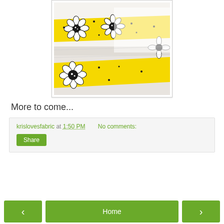[Figure (photo): Close-up photograph of folded white fabric with yellow and black daisy/flower print border trim, arranged on a flat surface]
More to come...
krislovesfabric at 1:50 PM   No comments:
Share
‹  Home  ›